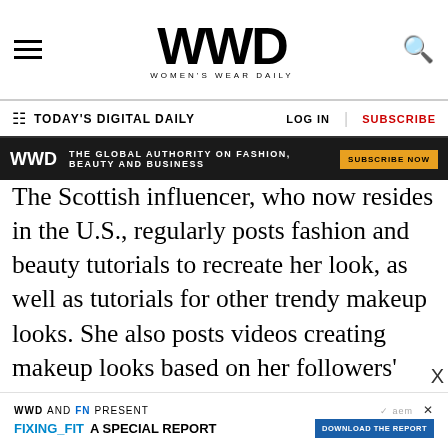WWD — Women's Wear Daily
TODAY'S DIGITAL DAILY   LOG IN   SUBSCRIBE
WWD   THE GLOBAL AUTHORITY ON FASHION, BEAUTY AND BUSINESS   SUBSCRIBE NOW
The Scottish influencer, who now resides in the U.S., regularly posts fashion and beauty tutorials to recreate her look, as well as tutorials for other trendy makeup looks. She also posts videos creating makeup looks based on her followers' suggestions. She's also expanded into family content since giving birth to her son earlier this year. Chiswell has been posting on TikTok for the last few years, and has grown her following to 15.7 million followers.
WWD AND FN PRESENT   FIXING_FIT A SPECIAL REPORT   DOWNLOAD THE REPORT